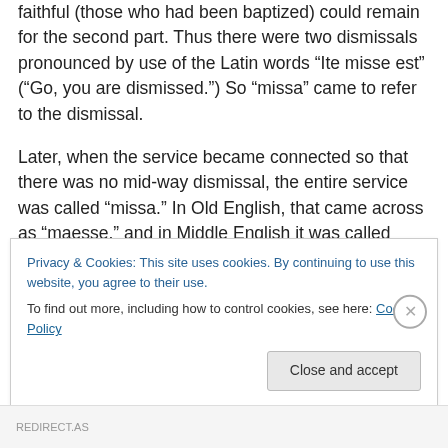faithful (those who had been baptized) could remain for the second part. Thus there were two dismissals pronounced by use of the Latin words “Ite misse est” (“Go, you are dismissed.”) So “missa” came to refer to the dismissal.
Later, when the service became connected so that there was no mid-way dismissal, the entire service was called “missa.” In Old English, that came across as “maesse,” and in Middle English it was called either “messe” or “masse.” Thus, and we may say that this is rather sad, the worship gathering became known for the ending.
Privacy & Cookies: This site uses cookies. By continuing to use this website, you agree to their use.
To find out more, including how to control cookies, see here: Cookie Policy
Close and accept